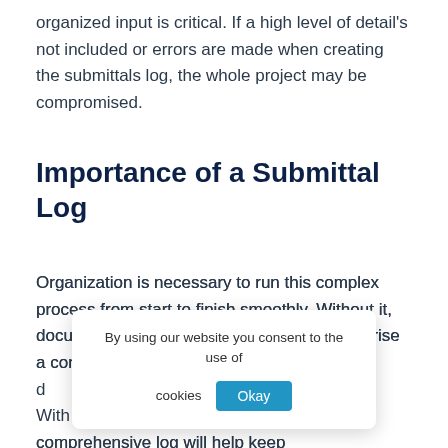organized input is critical. If a high level of detail's not included or errors are made when creating the submittals log, the whole project may be compromised.
Importance of a Submittal Log
Organization is necessary to run this complex process from start to finish smoothly. Without it, documents and other components that comprise a construction project can become difficult to work with. With… ay, having a comprehensive log will help keep
By using our website you consent to the use of cookies  Okay